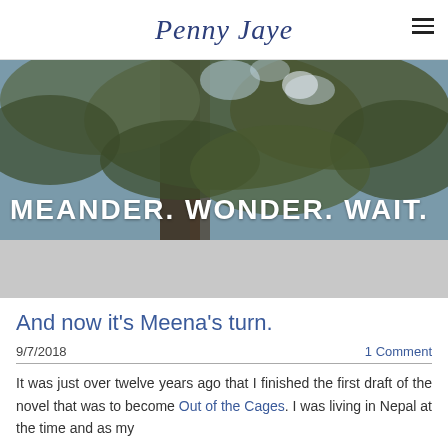Penny Jaye
[Figure (photo): Tree canopy photo with text overlay reading MEANDER. WONDER. WAIT. in bold white capital letters on a dark nature background]
And now it's Meena's turn.
9/7/2018   1 Comment
It was just over twelve years ago that I finished the first draft of the novel that was to become Out of the Cages. I was living in Nepal at the time and as my